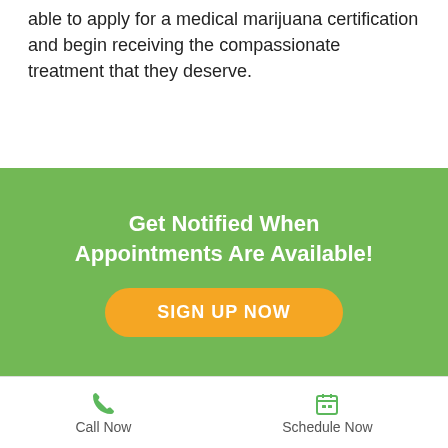able to apply for a medical marijuana certification and begin receiving the compassionate treatment that they deserve.
Get Notified When Appointments Are Available!
SIGN UP NOW
[Figure (logo): North Carolina Marijuana Card logo with state silhouette and marijuana leaf icon, white on black background]
[Figure (logo): Facebook icon circle on black background]
Subscribe To Our Newsletter
Call Now   Schedule Now